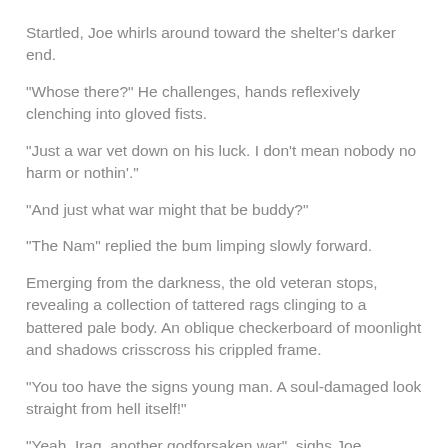Startled, Joe whirls around toward the shelter's darker end.
“Whose there?” He challenges, hands reflexively clenching into gloved fists.
“Just a war vet down on his luck. I don’t mean nobody no harm or nothin’.”
“And just what war might that be buddy?”
“The Nam” replied the bum limping slowly forward.
Emerging from the darkness, the old veteran stops, revealing a collection of tattered rags clinging to a battered pale body. An oblique checkerboard of moonlight and shadows crisscross his crippled frame.
“You too have the signs young man. A soul-damaged look straight from hell itself!”
“Yeah, Iraq, another godforsaken war”, sighs Joe.